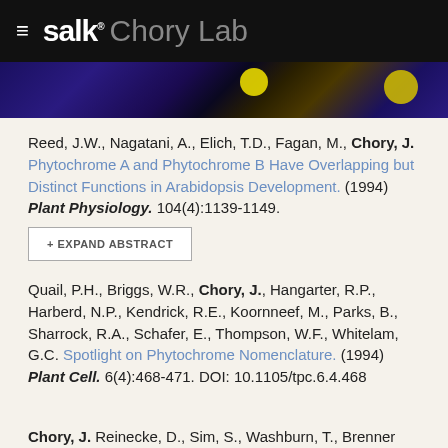salk. Chory Lab
[Figure (photo): Dark banner image with blue/purple tones and yellow glowing circles]
Reed, J.W., Nagatani, A., Elich, T.D., Fagan, M., Chory, J. Phytochrome A and Phytochrome B Have Overlapping but Distinct Functions in Arabidopsis Development. (1994) Plant Physiology. 104(4):1139-1149.
+ EXPAND ABSTRACT
Quail, P.H., Briggs, W.R., Chory, J., Hangarter, R.P., Harberd, N.P., Kendrick, R.E., Koornneef, M., Parks, B., Sharrock, R.A., Schafer, E., Thompson, W.F., Whitelam, G.C. Spotlight on Phytochrome Nomenclature. (1994) Plant Cell. 6(4):468-471. DOI: 10.1105/tpc.6.4.468
Chory, J. Reinecke, D., Sim, S., Washburn, T., Brenner